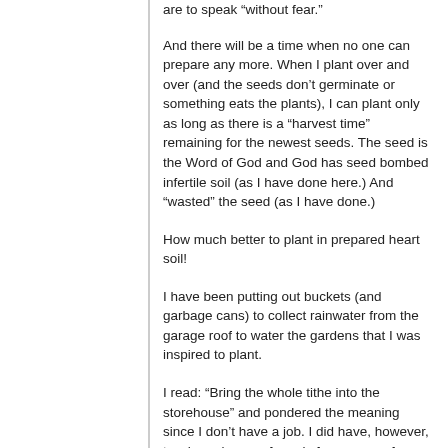are to speak “without fear.”
And there will be a time when no one can prepare any more. When I plant over and over (and the seeds don’t germinate or something eats the plants), I can plant only as long as there is a “harvest time” remaining for the newest seeds. The seed is the Word of God and God has seed bombed infertile soil (as I have done here.) And “wasted” the seed (as I have done.)
How much better to plant in prepared heart soil!
I have been putting out buckets (and garbage cans) to collect rainwater from the garage roof to water the gardens that I was inspired to plant.
I read: “Bring the whole tithe into the storehouse” and pondered the meaning since I don’t have a job. I did have, however, two huge boxes of seeds from years of gardening in WA state.
We recently moved to Louisiana to a “Shrek’s swamp.” In order to plant productive gardens, we